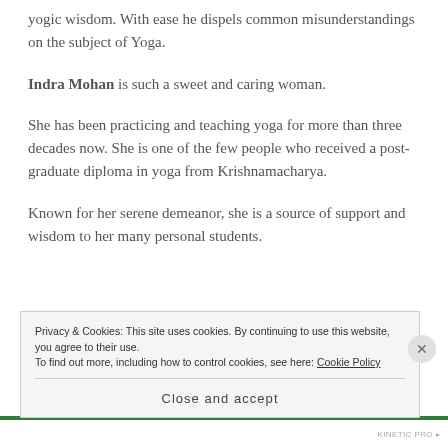yogic wisdom. With ease he dispels common misunderstandings on the subject of Yoga.
Indra Mohan is such a sweet and caring woman.
She has been practicing and teaching yoga for more than three decades now. She is one of the few people who received a post-graduate diploma in yoga from Krishnamacharya.
Known for her serene demeanor, she is a source of support and wisdom to her many personal students.
Privacy & Cookies: This site uses cookies. By continuing to use this website, you agree to their use. To find out more, including how to control cookies, see here: Cookie Policy
Close and accept